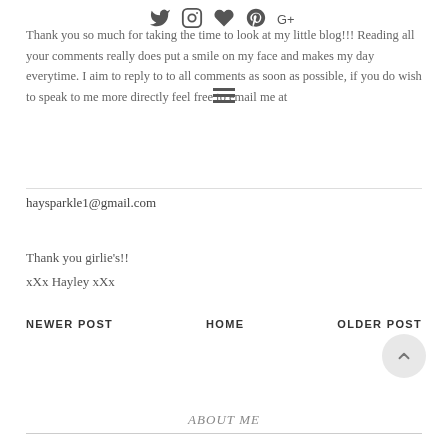Social media icons: Twitter, Instagram, Heart/Bloglovin, Pinterest, Google+
Thank you so much for taking the time to look at my little blog!!! Reading all your comments really does put a smile on my face and makes my day everytime. I aim to reply to to all comments as soon as possible, if you do wish to speak to me more directly feel free to email me at
haysparkle1@gmail.com
Thank you girlie's!!
xXx Hayley xXx
NEWER POST  HOME  OLDER POST
[Figure (other): Scroll to top button — circular grey button with upward chevron arrow]
ABOUT ME